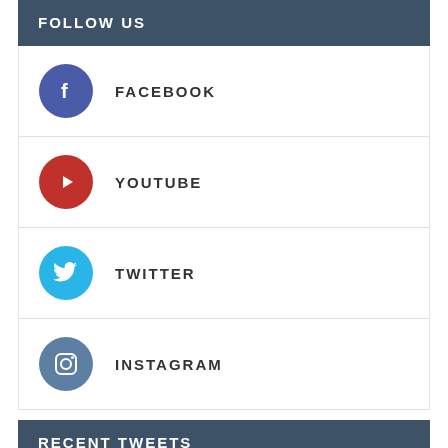FOLLOW US
FACEBOOK
YOUTUBE
TWITTER
INSTAGRAM
RECENT TWEETS
Mary Jane and Black Cat are teaming up for a new #marvelcomics series!